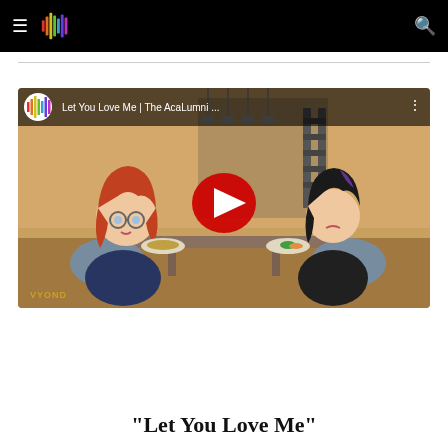Navigation header with hamburger menu, logo, and search icon
[Figure (screenshot): YouTube video thumbnail showing animated characters 'Let You Love Me | The AcaLumni ...' with a red play button in the center. Two animated female characters are seated at a cafeteria table. One has red hair and glasses, the other has dark hair. VYOND watermark in bottom left.]
"Let You Love Me"